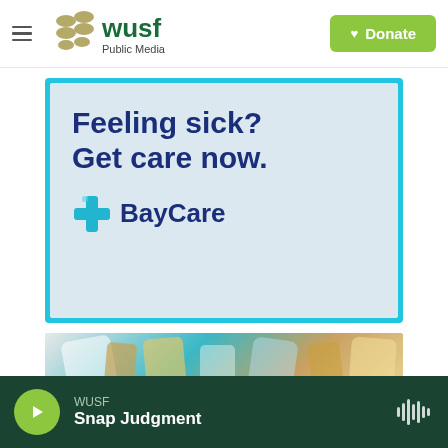WUSF Public Media | Donate
[Figure (illustration): BayCare advertisement with cyan border, light blue-gray background. Large dark blue bold text reads 'Feeling sick? Get care now.' Below is the BayCare logo with a blue cross icon and 'BayCare' in dark blue text.]
[Figure (photo): Partial view of a photo showing various bottles and items on a teal background, partially cropped at the bottom of the page.]
WUSF | Snap Judgment